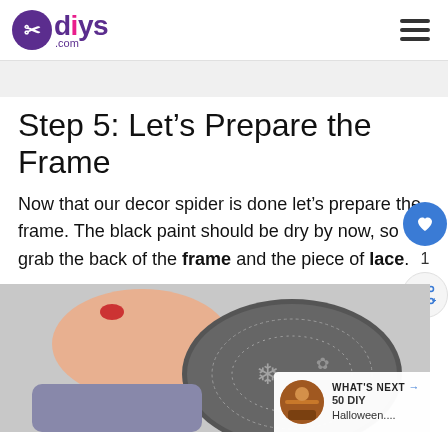diys.com
Step 5: Let's Prepare the Frame
Now that our decor spider is done let's prepare the frame. The black paint should be dry by now, so grab the back of the frame and the piece of lace.
[Figure (photo): A hand holding a dark oval/circular lace-covered frame against a light background, showing the back of the frame with decorative lace pattern.]